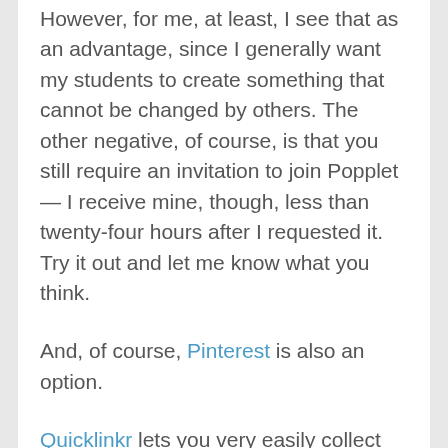However, for me, at least, I see that as an advantage, since I generally want my students to create something that cannot be changed by others. The other negative, of course, is that you still require an invitation to join Popplet — I receive mine, though, less than twenty-four hours after I requested it. Try it out and let me know what you think.
And, of course, Pinterest is also an option.
Quicklinkr lets you very easily collect websites, images, videos, etc — without requiring registration. They are shown with screenshots, and you can put them into “folders.” It appears you have to register if you want to come back to edit it, or to leave a comment about one of the saved links (registration is quick and easy).